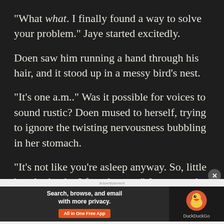“What what. I finally found a way to solve your problem.” Jaye started excitedly.
Doen saw him running a hand through his hair, and it stood up in a messy bird’s nest.
“It’s one a.m..” Was it possible for voices to sound rustic? Doen mused to herself, trying to ignore the twisting nervousness bubbling in her stomach.
“It’s not like you’re asleep anyway. So, little bro, look who I found you—” Jaye turned to grab the unprepared Doen, who noticeably jumped at the
[Figure (other): DuckDuckGo advertisement banner with 'Search, browse, and email with more privacy. All in One Free App' text and DuckDuckGo duck logo.]